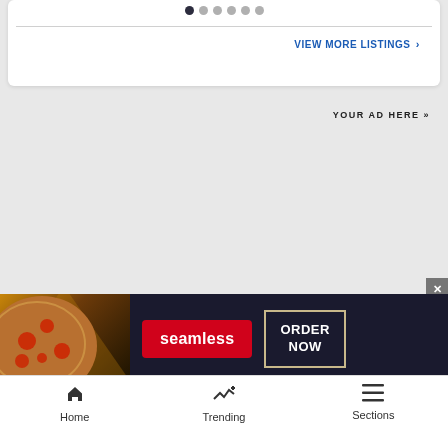[Figure (screenshot): Carousel dots navigation: one filled dark dot and five gray dots]
VIEW MORE LISTINGS »
YOUR AD HERE »
[Figure (photo): Seamless food delivery banner ad showing pizza slices with Seamless logo and ORDER NOW button]
[Figure (screenshot): Close button (X) in gray square]
[Figure (screenshot): Bell notification button in dark circle]
Home  Trending  Sections